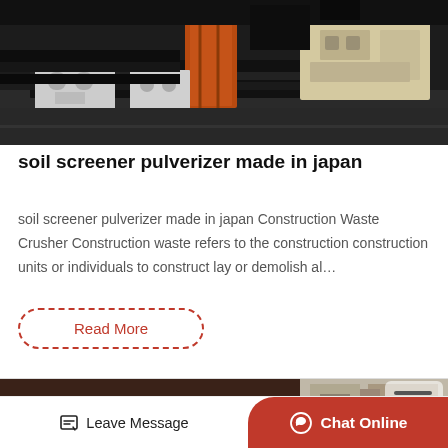[Figure (photo): Industrial machinery parts — screener/pulverizer equipment stacked, showing metal components in black, orange, and beige/cream colors.]
soil screener pulverizer made in japan
soil screener pulverizer made in japan Construction Waste Crusher Construction waste refers to the construction construction units or individuals to construct lay or demolish al…
Read More
[Figure (photo): Partial view of industrial machinery, partially obscured.]
Leave Message   Chat Online